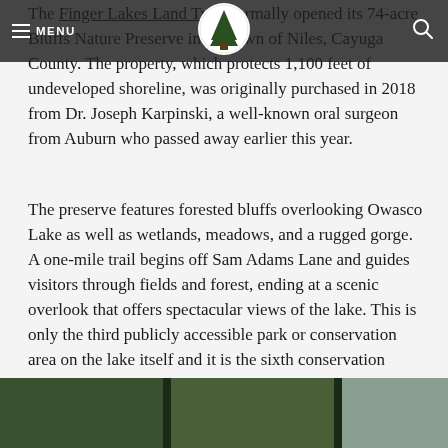MENU [logo] [search]
The Finger Lakes Land Trust formally opened its 74-acre Bluffs Nature Preserve in the town of Niles, Cayuga County. The property, which protects 1,100 feet of undeveloped shoreline, was originally purchased in 2018 from Dr. Joseph Karpinski, a well-known oral surgeon from Auburn who passed away earlier this year.
The preserve features forested bluffs overlooking Owasco Lake as well as wetlands, meadows, and a rugged gorge. A one-mile trail begins off Sam Adams Lane and guides visitors through fields and forest, ending at a scenic overlook that offers spectacular views of the lake. This is only the third publicly accessible park or conservation area on the lake itself and it is the sixth conservation project completed by the Finger Lakes Land Trust within the Owasco Lake watershed.
[Figure (photo): Bottom strip showing trees and landscape photo, partially cropped]